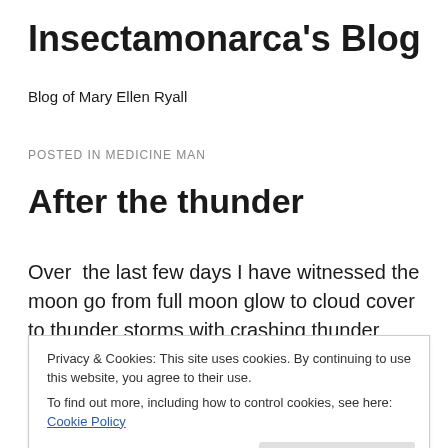Insectamonarca's Blog
Blog of Mary Ellen Ryall
POSTED IN MEDICINE MAN
After the thunder
Over  the last few days I have witnessed the moon go from full moon glow to cloud cover to thunder storms with crashing thunder overhead. One night in particular I saw
Privacy & Cookies: This site uses cookies. By continuing to use this website, you agree to their use.
To find out more, including how to control cookies, see here: Cookie Policy
had seen any hummers? It was then I started to pay